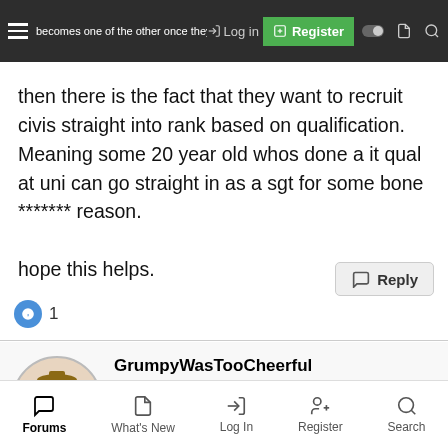becomes one of the other once they reach staff, and they will be classified as either regt d... Log in / Register
then there is the fact that they want to recruit civis straight into rank based on qualification. Meaning some 20 year old whos done a it qual at uni can go straight in as a sgt for some bone ******* reason.

hope this helps.
[Figure (screenshot): Reply button with speech bubble icon]
[Figure (screenshot): Info icon badge with reaction count of 1]
[Figure (screenshot): User profile section: avatar of grumpy dwarf character, username GrumpyWasTooCheerful, rank ADC, medals ribbons (green/purple/green/blue/mountain), award circles (star, 4 circular badges)]
Forums  What's New  Log In  Register  Search